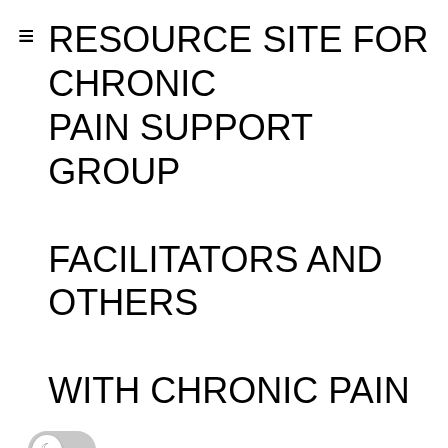RESOURCE SITE FOR CHRONIC PAIN SUPPORT GROUP FACILITATORS AND OTHERS WITH CHRONIC PAIN
[Figure (other): Dark mode toggle switch with moon icon, shown in off/light position]
FRIDAY MORNING INSPIRATION – MARIAN GRIFFEY – 8/19/2022
Good morning, everyone ~ At this early hour of this new day, as the household is sleeping and the neighborhood has quieted down, it's easy to believe